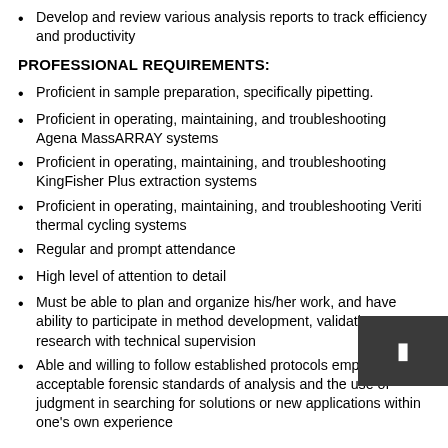Develop and review various analysis reports to track efficiency and productivity
PROFESSIONAL REQUIREMENTS:
Proficient in sample preparation, specifically pipetting.
Proficient in operating, maintaining, and troubleshooting Agena MassARRAY systems
Proficient in operating, maintaining, and troubleshooting KingFisher Plus extraction systems
Proficient in operating, maintaining, and troubleshooting Veriti thermal cycling systems
Regular and prompt attendance
High level of attention to detail
Must be able to plan and organize his/her work, and have ability to participate in method development, validation or research with technical supervision
Able and willing to follow established protocols employing acceptable forensic standards of analysis and the use of judgment in searching for solutions or new applications within one's own experience